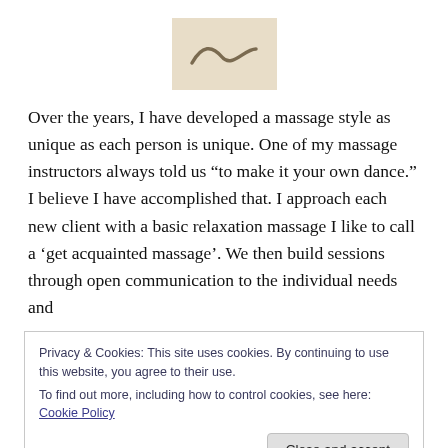[Figure (logo): A tilde-like swoosh graphic on a beige/tan background square, serving as a logo or decorative header image.]
Over the years, I have developed a massage style as unique as each person is unique. One of my massage instructors always told us “to make it your own dance.” I believe I have accomplished that. I approach each new client with a basic relaxation massage I like to call a ‘get acquainted massage’. We then build sessions through open communication to the individual needs and
Privacy & Cookies: This site uses cookies. By continuing to use this website, you agree to their use.
To find out more, including how to control cookies, see here: Cookie Policy
Close and accept